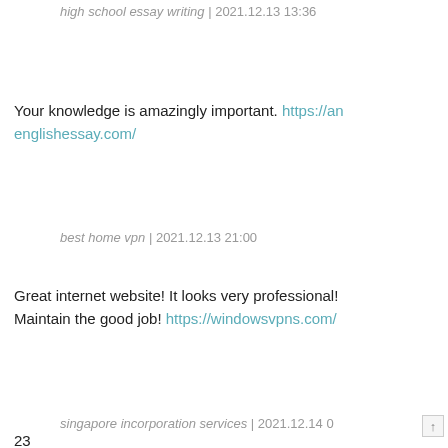high school essay writing | 2021.12.13 13:36
Your knowledge is amazingly important. https://anenglishessay.com/
best home vpn | 2021.12.13 21:00
Great internet website! It looks very professional! Maintain the good job! https://windowsvpns.com/
singapore incorporation services | 2021.12.14 0...
23